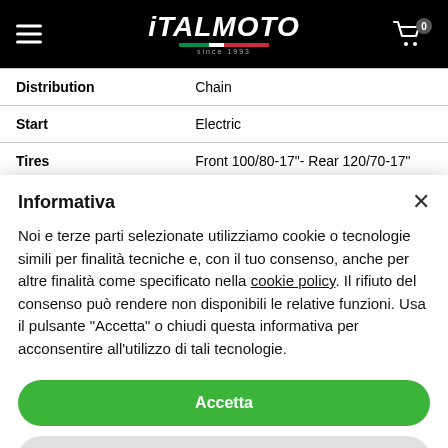[Figure (logo): Italmoto logo on black header bar with hamburger menu icon on left and shopping cart with badge '0' on right]
| Distribution | Chain |
| Start | Electric |
| Tires | Front 100/80-17"- Rear 120/70-17" |
Informativa
Noi e terze parti selezionate utilizziamo cookie o tecnologie simili per finalità tecniche e, con il tuo consenso, anche per altre finalità come specificato nella cookie policy. Il rifiuto del consenso può rendere non disponibili le relative funzioni. Usa il pulsante “Accetta” o chiudi questa informativa per acconsentire all'utilizzo di tali tecnologie.
Accetta
Scopri di più e personalizza